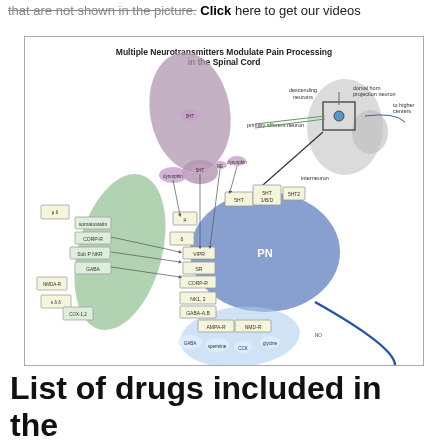that are not shown in the picture. Click here to get our videos
[Figure (illustration): Diagram titled 'Multiple Neurotransmitters Modulate Pain Processing in the Spinal Cord' showing neurotransmitter receptor interactions at the spinal cord dorsal horn, with a pre-synaptic neuron (purple/mauve, top), interneuron (green, left), post-synaptic projection neuron (blue, PN, center-right), and a small inset showing spinal cord anatomy with descending neurons, dorsal horn projection neuron, primary afferent neuron, interneuron, and higher centers. Multiple receptor labels (5HT, NE, Dynorphin, VIPR, SR, CORP-R, NK1.2, GABA-A,B, AMPA-R, NMD-R, etc.) shown with arrows.]
List of drugs included in the